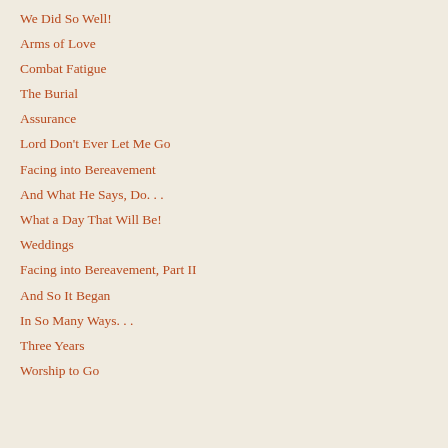We Did So Well!
Arms of Love
Combat Fatigue
The Burial
Assurance
Lord Don't Ever Let Me Go
Facing into Bereavement
And What He Says, Do…
What a Day That Will Be!
Weddings
Facing into Bereavement, Part II
And So It Began
In So Many Ways…
Three Years
Worship to Go